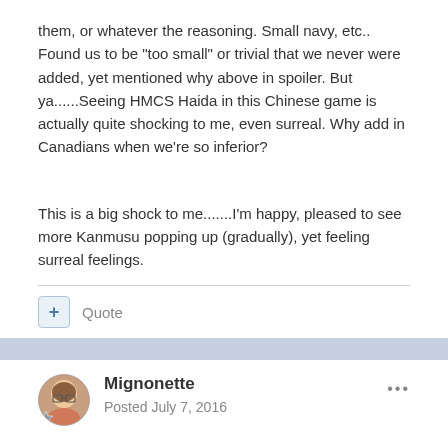them, or whatever the reasoning. Small navy, etc.. Found us to be "too small" or trivial that we never were added, yet mentioned why above in spoiler. But ya......Seeing HMCS Haida in this Chinese game is actually quite shocking to me, even surreal. Why add in Canadians when we're so inferior?
This is a big shock to me.......I'm happy, pleased to see more Kanmusu popping up (gradually), yet feeling surreal feelings.
+ Quote
Mignonette
Posted July 7, 2016
Sometime I'll make a general Warship Girls thread on the forum if there's interest.